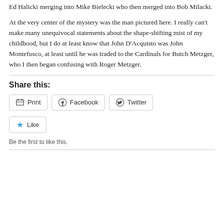Ed Halicki merging into Mike Bielecki who then merged into Bob Milacki.
At the very center of the mystery was the man pictured here. I really can't make many unequivocal statements about the shape-shifting mist of my childhood, but I do at least know that John D'Acquisto was John Montefusco, at least until he was traded to the Cardinals for Butch Metzger, who I then began confusing with Roger Metzger.
Share this:
[Figure (other): Share buttons: Print, Facebook, Twitter]
[Figure (other): Like button]
Be the first to like this.